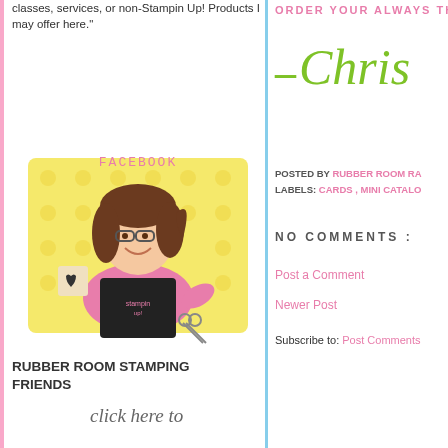classes, services, or non-Stampin Up! Products I may offer here."
[Figure (illustration): JOIN ME ON FACEBOOK text with cartoon illustration of a woman with brown hair wearing a pink top and black Stampin Up apron, standing in front of a yellow polka-dot background]
RUBBER ROOM STAMPING FRIENDS
click here to
ORDER YOUR ALWAYS THA
- Chris
POSTED BY RUBBER ROOM RA
LABELS: CARDS , MINI CATALO
NO COMMENTS :
Post a Comment
Newer Post
Subscribe to: Post Comments